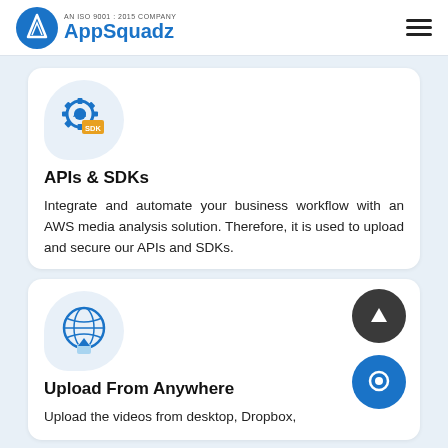AN ISO 9001 : 2015 COMPANY AppSquadz
[Figure (logo): AppSquadz logo with ISO 9001:2015 company text and blue circular icon with mountain/arrow symbol]
[Figure (illustration): API SDK icon - gear with API text and SDK box]
APIs & SDKs
Integrate and automate your business workflow with an AWS media analysis solution. Therefore, it is used to upload and secure our APIs and SDKs.
[Figure (illustration): Upload from anywhere icon - globe with upload arrow]
Upload From Anywhere
Upload the videos from desktop, Dropbox,